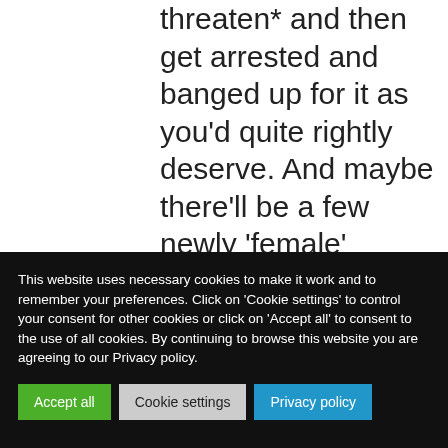threaten* and then get arrested and banged up for it as you'd quite rightly deserve. And maybe there'll be a few newly 'female' (male) rapists locked up with you too if you're very
This website uses necessary cookies to make it work and to remember your preferences. Click on 'Cookie settings' to control your consent for other cookies or click on 'Accept all' to consent to the use of all cookies. By continuing to browse this website you are agreeing to our Privacy policy.